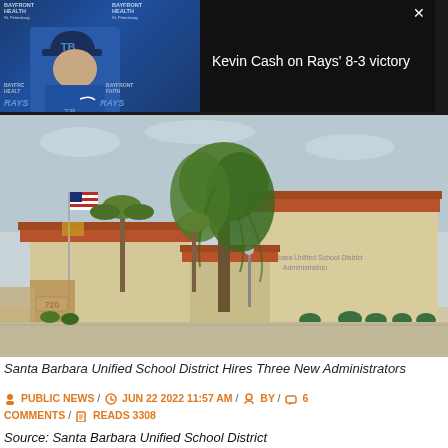[Figure (screenshot): Video thumbnail showing Kevin Cash, Tampa Bay Rays manager, in front of Bayfront Health St. Petersburg backdrop. Dark overlay with title 'Kevin Cash on Rays' 8-3 victory' and close button.]
[Figure (photo): Exterior photo of Santa Barbara Unified School District Administration building at 720, with large tree in foreground, American flag, red tile roof, beige stucco walls.]
Santa Barbara Unified School District Hires Three New Administrators
PUBLIC NEWS / JUN 22 2022 11:57 AM / BY / 6 COMMENTS / READS 3308
Source: Santa Barbara Unified School District